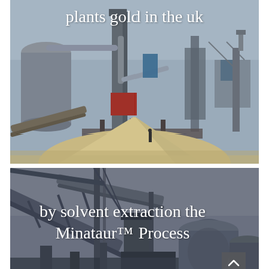[Figure (photo): Industrial mining or processing plant facility with large structures, conveyor belts, silos, pipes, and a pile of sand or mineral material in the foreground. Text overlay reads 'plants gold in the uk'.]
plants gold in the uk
[Figure (photo): Industrial processing plant with overhead conveyor belts, large cylindrical tanks, and metal framework structures against a grey sky. Text overlay reads 'by solvent extraction the Minataur™ Process'. Navigation arrow in bottom right corner.]
by solvent extraction the Minataur™ Process